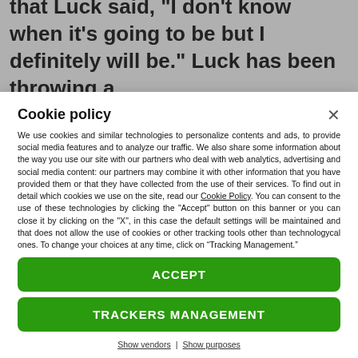that Luck said, "I don't know when it's going to be but I definitely will be." Luck has been throwing a
Cookie policy
We use cookies and similar technologies to personalize contents and ads, to provide social media features and to analyze our traffic. We also share some information about the way you use our site with our partners who deal with web analytics, advertising and social media content: our partners may combine it with other information that you have provided them or that they have collected from the use of their services. To find out in detail which cookies we use on the site, read our Cookie Policy. You can consent to the use of these technologies by clicking the "Accept" button on this banner or you can close it by clicking on the "X", in this case the default settings will be maintained and that does not allow the use of cookies or other tracking tools other than technologycal ones. To change your choices at any time, click on “Tracking Management.”
ACCEPT
TRACKERS MANAGEMENT
Show vendors | Show purposes